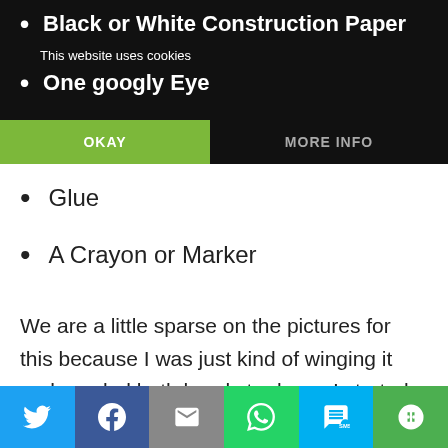Black or White Construction Paper
This website uses cookies
One googly Eye
Glue
A Crayon or Marker
We are a little sparse on the pictures for this because I was just kind of winging it and needed both hands to do so. I started by putting both paint colors on the plate then putting the plate in the sandwich bag. If you've never had your child paint this way, you are